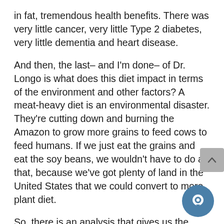in fat, tremendous health benefits. There was very little cancer, very little Type 2 diabetes, very little dementia and heart disease.
And then, the last– and I'm done– of Dr. Longo is what does this diet impact in terms of the environment and other factors? A meat-heavy diet is an environmental disaster. They're cutting down and burning the Amazon to grow more grains to feed cows to feed humans. If we just eat the grains and eat the soy beans, we wouldn't have to do all that, because we've got plenty of land in the United States that we could convert to more plant diet.
So, there is an analysis that gives us the an… And it's either only plants or largely plant diets.